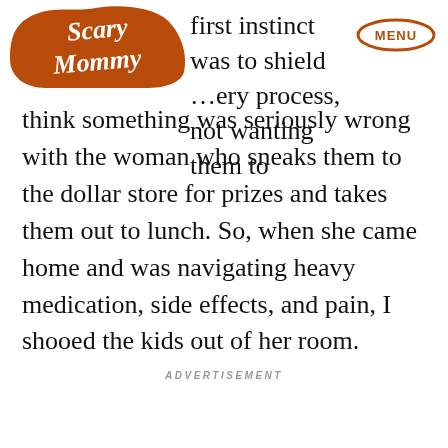[Figure (logo): Scary Mommy logo in brown/orange cursive text inside an irregular badge shape]
first instinct was to shield …ery process, not wanting them to think something was seriously wrong with the woman who sneaks them to the dollar store for prizes and takes them out to lunch. So, when she came home and was navigating heavy medication, side effects, and pain, I shooed the kids out of her room.
ADVERTISEMENT